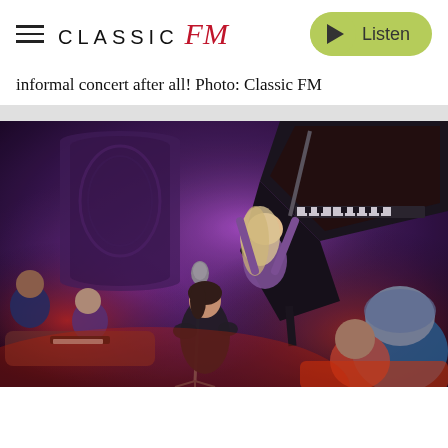CLASSIC FM — Listen button
informal concert after all! Photo: Classic FM
[Figure (photo): Indoor concert scene with dramatic purple and red lighting. A woman with blonde hair plays a grand piano on stage. Another woman in a black outfit speaks into a microphone on a tripod in the foreground. Audience members are seated on sofas in the background. The venue has ornate decorative walls.]